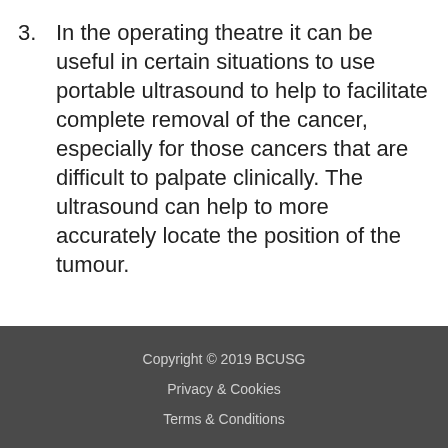3. In the operating theatre it can be useful in certain situations to use portable ultrasound to help to facilitate complete removal of the cancer, especially for those cancers that are difficult to palpate clinically. The ultrasound can help to more accurately locate the position of the tumour.
Copyright © 2019 BCUSG
Privacy & Cookies
Terms & Conditions